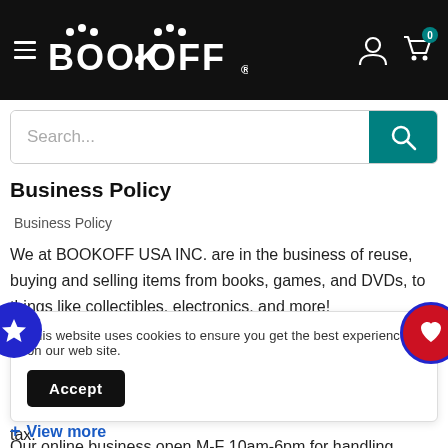[Figure (screenshot): BOOK-OFF website header with hamburger menu, logo, account icon, and cart icon with badge showing 0]
[Figure (screenshot): Search bar with placeholder text 'Search...' and teal search button]
Business Policy
Business Policy
We at BOOKOFF USA INC. are in the business of reuse, buying and selling items from books, games, and DVDs, to things like collectibles, electronics, and more!
We have stores in California, Hawaii, and New York. Residents of these states will be charged their local state tax.
Our online business open M-F 10am-6pm for handling shipping and
This website uses cookies to ensure you get the best experience on our web site.
View more